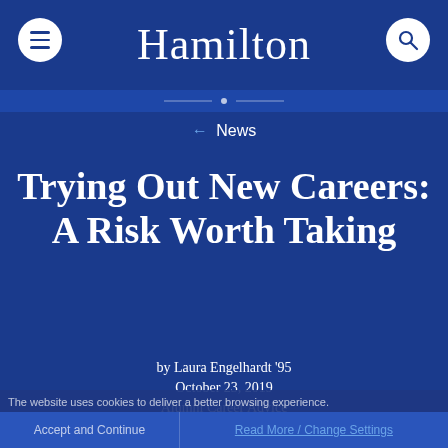Hamilton
← News
Trying Out New Careers: A Risk Worth Taking
by Laura Engelhardt '95
October 23, 2019
Alumni Career Advice
The website uses cookies to deliver a better browsing experience.
Accept and Continue  Read More / Change Settings